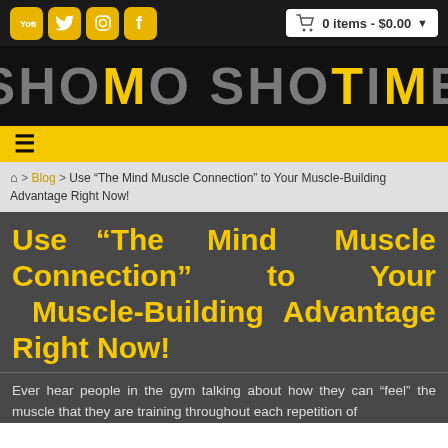[Figure (screenshot): Website top bar with social media icons (YouTube, Twitter, Instagram, Facebook) and shopping cart showing 0 items - $0.00]
[Figure (logo): Shomo Shotime logo in large bold text on black background, with yellow M characters containing flexing man silhouette]
[Figure (screenshot): Yellow navigation bar with hamburger menu icon]
🏠 > Blog > Use “The Mind Muscle Connection” to Your Muscle-Building Advantage Right Now!
Use “The Mind Muscle Connection” to Your Muscle-Building Advantage Right Now!
Ever hear people in the gym talking about how they can “feel” the muscle that they are training throughout each repetition of